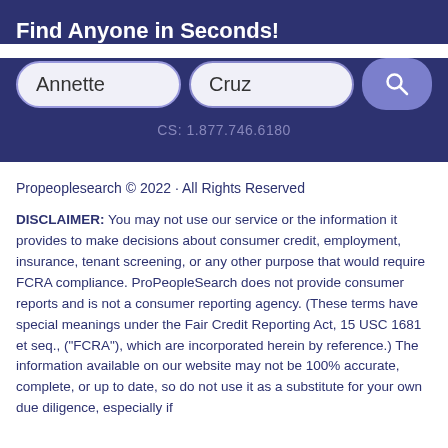Find Anyone in Seconds!
[Figure (screenshot): Search form with two input fields showing 'Annette' and 'Cruz' and a blue search button]
CS: 1.877.746.6180
Propeoplesearch © 2022 · All Rights Reserved
DISCLAIMER: You may not use our service or the information it provides to make decisions about consumer credit, employment, insurance, tenant screening, or any other purpose that would require FCRA compliance. ProPeopleSearch does not provide consumer reports and is not a consumer reporting agency. (These terms have special meanings under the Fair Credit Reporting Act, 15 USC 1681 et seq., ("FCRA"), which are incorporated herein by reference.) The information available on our website may not be 100% accurate, complete, or up to date, so do not use it as a substitute for your own due diligence, especially if